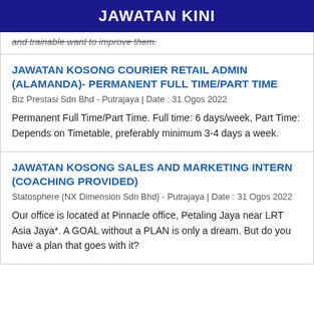JAWATAN KINI
and trainable want to improve them.
JAWATAN KOSONG COURIER RETAIL ADMIN (ALAMANDA)- PERMANENT FULL TIME/PART TIME
Biz Prestasi Sdn Bhd - Putrajaya | Date : 31 Ogos 2022
Permanent Full Time/Part Time. Full time: 6 days/week, Part Time: Depends on Timetable, preferably minimum 3-4 days a week.
JAWATAN KOSONG SALES AND MARKETING INTERN (COACHING PROVIDED)
Statosphere (NX Dimension Sdn Bhd) - Putrajaya | Date : 31 Ogos 2022
Our office is located at Pinnacle office, Petaling Jaya near LRT Asia Jaya*. A GOAL without a PLAN is only a dream. But do you have a plan that goes with it?